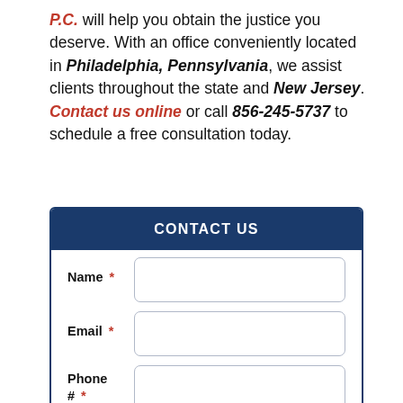P.C. will help you obtain the justice you deserve. With an office conveniently located in Philadelphia, Pennsylvania, we assist clients throughout the state and New Jersey. Contact us online or call 856-245-5737 to schedule a free consultation today.
[Figure (screenshot): Contact Us form with fields: Name (required), Email (required), Phone # (required), Comments]